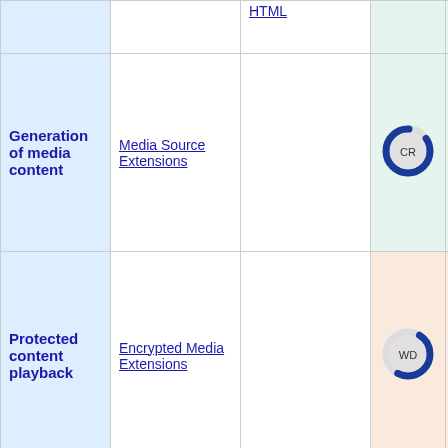| Feature | Specification | WHATWG | W3C Status | Support |
| --- | --- | --- | --- | --- |
| Generation of media content | Media Source Extensions |  | CR | Stable |
| Protected content playback | Encrypted Media Extensions |  | WD | Early draft |
| Media... | Media Extensions... | WHATWG... |  | Early draft |